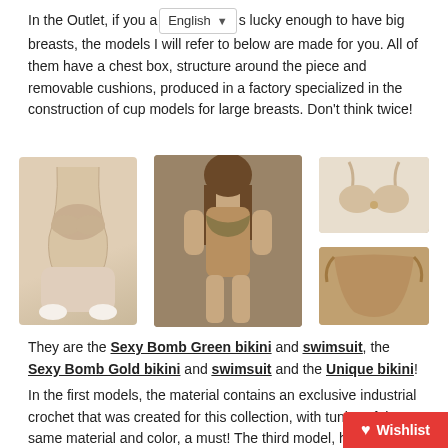In the Outlet, if you a[English ▼]s lucky enough to have big breasts, the models I will refer to below are made for you. All of them have a chest box, structure around the piece and removable cushions, produced in a factory specialized in the construction of cup models for large breasts. Don't think twice!
[Figure (photo): Three swimwear product images: left is a nude/tan one-piece swimsuit, center is a model wearing an olive/gold bikini, right shows a gold bikini set (top and bottom separately).]
They are the Sexy Bomb Green bikini and swimsuit, the Sexy Bomb Gold bikini and swimsuit and the Unique bikini!
In the first models, the material contains an exclusive industrial crochet that was created for this collection, with tunics of the same material and color, a must! The third model, has an exclusive Italian fabric, designed with you in mind.